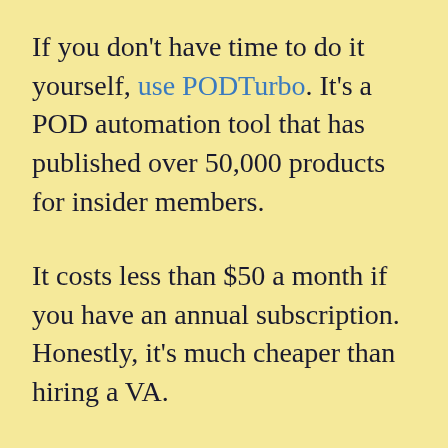If you don't have time to do it yourself, use PODTurbo. It's a POD automation tool that has published over 50,000 products for insider members.
It costs less than $50 a month if you have an annual subscription. Honestly, it's much cheaper than hiring a VA.
You simply prepare your product data in a CSV file and upload it to